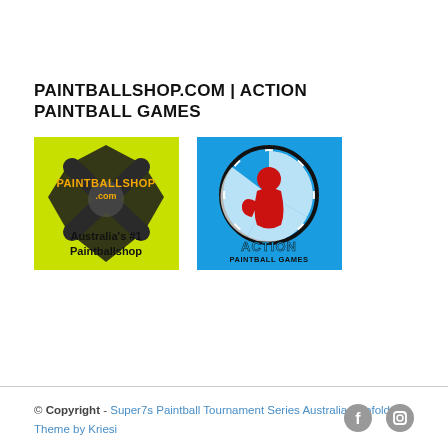PAINTBALLSHOP.COM | ACTION PAINTBALL GAMES
[Figure (logo): Paintballshop.com logo – yellow-green background with dark crossed paintball markers, orange 'PAINTBALLSHOP.COM' text, and 'Australia's #1 Paintballshop' text below]
[Figure (logo): Action Paintball Games logo – bright blue background with a circular emblem featuring a red/white paintball player silhouette and 'ACTION PAINTBALL GAMES' text]
© Copyright - Super7s Paintball Tournament Series Australia - Enfold Theme by Kriesi